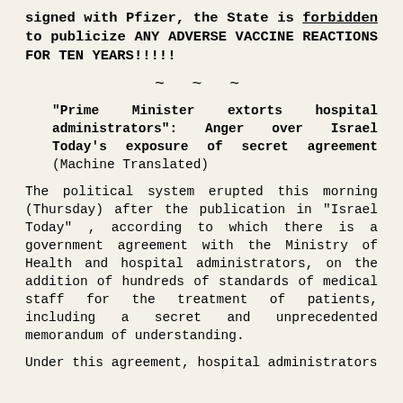signed with Pfizer, the State is forbidden to publicize ANY ADVERSE VACCINE REACTIONS FOR TEN YEARS!!!!!
~ ~ ~
"Prime Minister extorts hospital administrators": Anger over Israel Today's exposure of secret agreement (Machine Translated)
The political system erupted this morning (Thursday) after the publication in "Israel Today" , according to which there is a government agreement with the Ministry of Health and hospital administrators, on the addition of hundreds of standards of medical staff for the treatment of patients, including a secret and unprecedented memorandum of understanding.
Under this agreement, hospital administrators